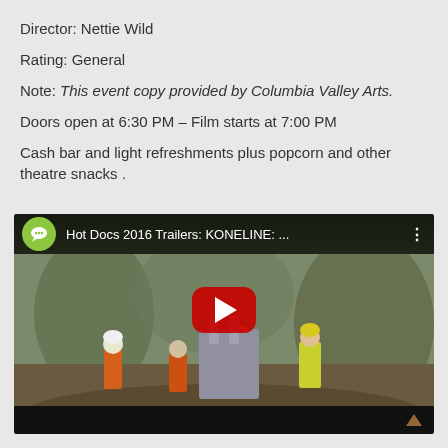Director: Nettie Wild
Rating: General
Note: This event copy provided by Columbia Valley Arts.
Doors open at 6:30 PM – Film starts at 7:00 PM
Cash bar and light refreshments plus popcorn and other theatre snacks .
[Figure (screenshot): YouTube video thumbnail for 'Hot Docs 2016 Trailers: KONELINE: ...' showing workers in safety gear on a hillside with a large play button overlay]